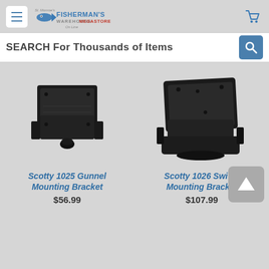[Figure (screenshot): Fisherman's Warehouse Megastore website header with hamburger menu, logo, and cart icon]
SEARCH For Thousands of Items
[Figure (photo): Black Scotty 1025 Gunnel Mounting Bracket product photo]
Scotty 1025 Gunnel Mounting Bracket
$56.99
[Figure (photo): Black Scotty 1026 Swivel Mounting Bracket product photo]
Scotty 1026 Swivel Mounting Bracket
$107.99